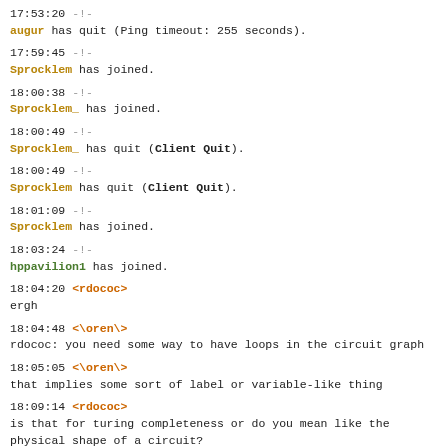17:53:20 -!-
augur has quit (Ping timeout: 255 seconds).
17:59:45 -!-
Sprocklem has joined.
18:00:38 -!-
Sprocklem_ has joined.
18:00:49 -!-
Sprocklem_ has quit (Client Quit).
18:00:49 -!-
Sprocklem has quit (Client Quit).
18:01:09 -!-
Sprocklem has joined.
18:03:24 -!-
hppavilion1 has joined.
18:04:20 <rdococ>
ergh
18:04:48 <\oren\>
rdococ: you need some way to have loops in the circuit graph
18:05:05 <\oren\>
that implies some sort of label or variable-like thing
18:09:14 <rdococ>
is that for turing completeness or do you mean like the physical shape of a circuit?
18:09:40 <Phantom_Hoover>